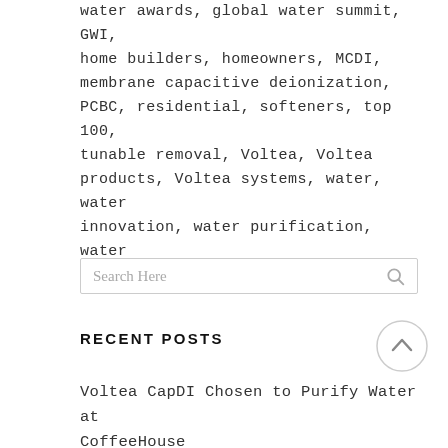water awards, global water summit, GWI, home builders, homeowners, MCDI, membrane capacitive deionization, PCBC, residential, softeners, top 100, tunable removal, Voltea, Voltea products, Voltea systems, water, water innovation, water purification, water reuse, water technology
Search Here
RECENT POSTS
Voltea CapDI Chosen to Purify Water at CoffeeHouse